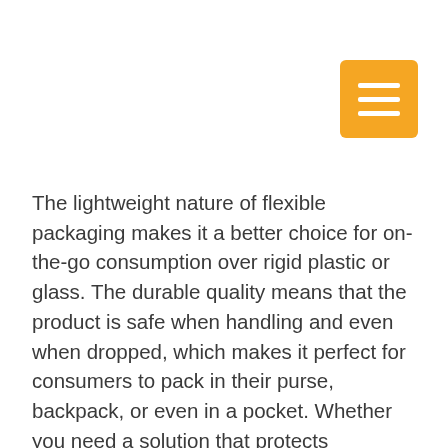[Figure (other): Orange hamburger menu button icon with three white horizontal lines on an orange rounded square background]
The lightweight nature of flexible packaging makes it a better choice for on-the-go consumption over rigid plastic or glass. The durable quality means that the product is safe when handling and even when dropped, which makes it perfect for consumers to pack in their purse, backpack, or even in a pocket. Whether you need a solution that protects perishables, is resistant to tears and punctures, prevents tampering, or safeguards against damage during transport, you can implement flexible options without sacrificing these durability components